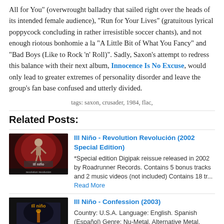All for You" (overwrought balladry that sailed right over the heads of its intended female audience), "Run for Your Lives" (gratuitous lyrical poppycock concluding in rather irresistible soccer chants), and not enough riotous bonhomie a la "A Little Bit of What You Fancy" and "Bad Boys (Like to Rock 'n' Roll)". Sadly, Saxon's attempt to redress this balance with their next album, Innocence Is No Excuse, would only lead to greater extremes of personality disorder and leave the group's fan base confused and utterly divided.
tags: saxon, crusader, 1984, flac,
Related Posts:
[Figure (photo): Album cover thumbnail for Ill Niño - Revolution Revolución, showing a skeleton figure against a dark red background with 'ill niño' text and 'revolution revolución' at the bottom]
Ill Niño - Revolution Revolución (2002 Special Edition)
*Special edition Digipak reissue released in 2002 by Roadrunner Records. Contains 5 bonus tracks and 2 music videos (not included) Contains 18 tr... Read More
[Figure (photo): Album cover thumbnail for Ill Niño - Confession (2003), dark background with 'Ill niño' text]
Ill Niño - Confession (2003)
Country: U.S.A. Language: English. Spanish (Español) Genre: Nu-Metal, Alternative Metal. FLAC via Mega